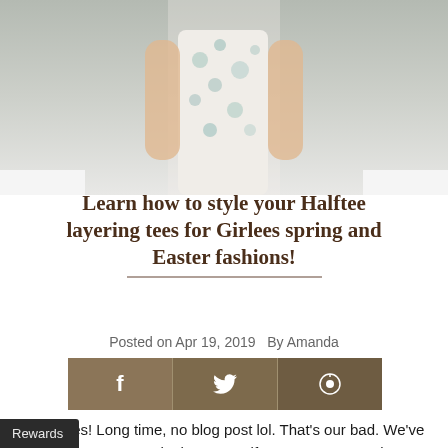[Figure (photo): Partial photo of a person wearing a floral spring dress against a white brick wall background, cropped at torso level]
Learn how to style your Halftee layering tees for Girlees spring and Easter fashions!
Posted on Apr 19, 2019   By Amanda
[Figure (infographic): Social sharing buttons bar with Facebook (f), Twitter (bird), and Pinterest (p) icons in brown/tan color scheme]
Hey ladies! Long time, no blog post lol. That's our bad. We've had a few crazy months here at Halftee. But we're ready to get back on the horse as it were and start our blog up again and keep with you about our AMAZING layering